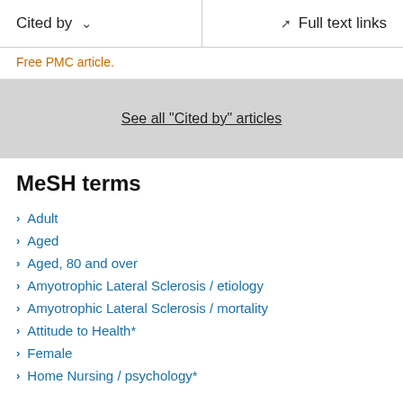Cited by   ∨        Full text links
Free PMC article.
See all "Cited by" articles
MeSH terms
Adult
Aged
Aged, 80 and over
Amyotrophic Lateral Sclerosis / etiology
Amyotrophic Lateral Sclerosis / mortality
Attitude to Health*
Female
Home Nursing / psychology*